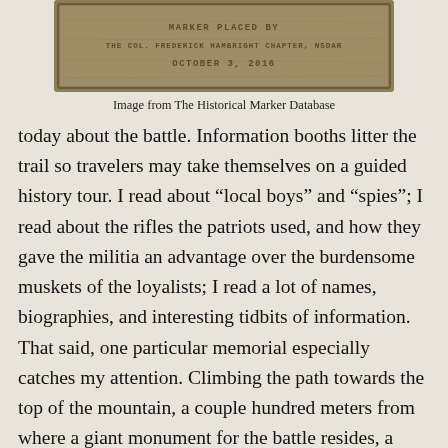[Figure (photo): A bronze historical marker plaque with engraved text: 'MARKER PLACED BY THE COL. FREDERICK HAMBRIGHT CHAPTER, NSDAR OCTOBER 3, 2016']
Image from The Historical Marker Database
today about the battle. Information booths litter the trail so travelers may take themselves on a guided history tour. I read about “local boys” and “spies”; I read about the rifles the patriots used, and how they gave the militia an advantage over the burdensome muskets of the loyalists; I read a lot of names, biographies, and interesting tidbits of information. That said, one particular memorial especially catches my attention. Climbing the path towards the top of the mountain, a couple hundred meters from where a giant monument for the battle resides, a smaller, humbler monument gives remembrance to Esaias